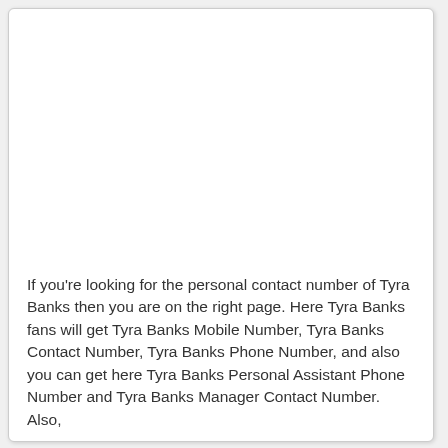If you're looking for the personal contact number of Tyra Banks then you are on the right page. Here Tyra Banks fans will get Tyra Banks Mobile Number, Tyra Banks Contact Number, Tyra Banks Phone Number, and also you can get here Tyra Banks Personal Assistant Phone Number and Tyra Banks Manager Contact Number. Also,